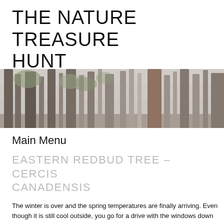THE NATURE TREASURE HUNT
Exploring & Documenting Nature
[Figure (photo): Wide panoramic banner photo of a misty forest with tall tree trunks and soft green foliage in fog]
Main Menu
EASTERN REDBUD TREE – CERCIS CANADENSIS
The winter is over and the spring temperatures are finally arriving. Even though it is still cool outside, you go for a drive with the windows down